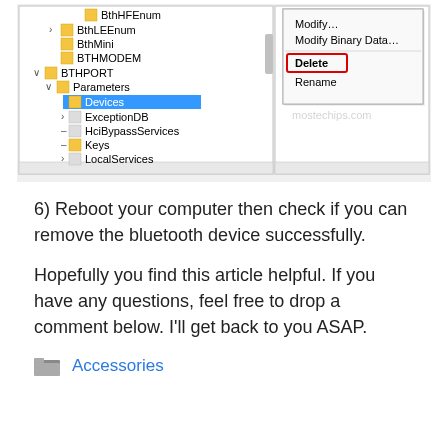[Figure (screenshot): Windows Registry Editor screenshot showing a folder tree with BTHPORT > Parameters > Devices selected, and a right-click context menu with 'Delete' highlighted in a red box. Menu options visible: Modify..., Modify Binary Data..., Delete, Rename. Watermark 'mostechips.com' visible.]
6) Reboot your computer then check if you can remove the bluetooth device successfully.
Hopefully you find this article helpful. If you have any questions, feel free to drop a comment below. I'll get back to you ASAP.
Accessories